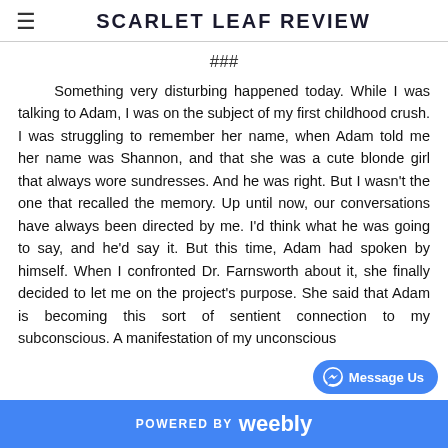SCARLET LEAF REVIEW
###
Something very disturbing happened today. While I was talking to Adam, I was on the subject of my first childhood crush. I was struggling to remember her name, when Adam told me her name was Shannon, and that she was a cute blonde girl that always wore sundresses. And he was right. But I wasn't the one that recalled the memory. Up until now, our conversations have always been directed by me. I'd think what he was going to say, and he'd say it. But this time, Adam had spoken by himself. When I confronted Dr. Farnsworth about it, she finally decided to let me on the project's purpose. She said that Adam is becoming this sort of sentient connection to my subconscious. A manifestation of my unconscious
POWERED BY weebly